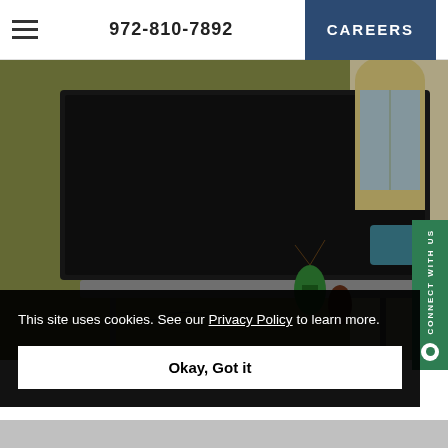972-810-7892  CAREERS
[Figure (photo): Interior photo of a senior living lounge area with a large wall-mounted TV on an olive/green wall on the left, and a seating area with teal/blue chairs and arched windows on the right side. A green decorative vase and plant are visible on a console table.]
CONNECT WITH US
This site uses cookies. See our Privacy Policy to learn more.
Okay, Got it